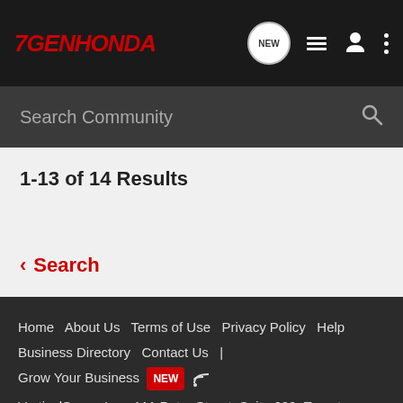7GENHONDA — NEW search community nav bar
Search Community
1-13 of 14 Results
< Search
Home   About Us   Terms of Use   Privacy Policy   Help   Business Directory   Contact Us   |   Grow Your Business   NEW   RSS   VerticalScope Inc., 111 Peter Street, Suite 600, Toronto, Ontario, M5V 2H1, Canada   The Fora platform includes forum software by XenForo